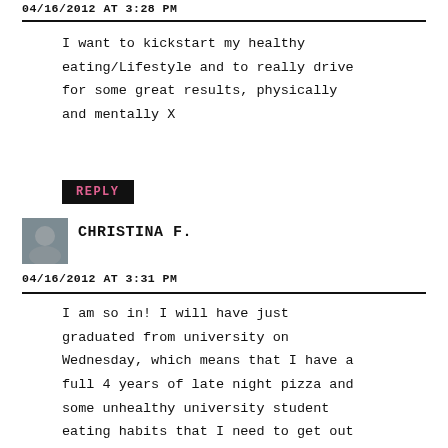04/16/2012 AT 3:28 PM
I want to kickstart my healthy eating/Lifestyle and to really drive for some great results, physically and mentally X
REPLY
CHRISTINA F.
04/16/2012 AT 3:31 PM
I am so in! I will have just graduated from university on Wednesday, which means that I have a full 4 years of late night pizza and some unhealthy university student eating habits that I need to get out